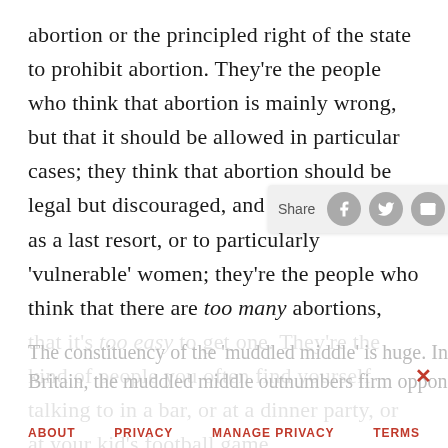abortion or the principled right of the state to prohibit abortion. They're the people who think that abortion is mainly wrong, but that it should be allowed in particular cases; they think that abortion should be legal but discouraged, and only available as a last resort, or to particularly 'vulnerable' women; they're the people who think that there are too many abortions, that it's too easy to get one. They're the kind of people you often find yourself talking to in a bar, or at a dinner party, or at your kid's football game.
[Figure (other): Share bar with social media icons: Facebook, Twitter, Email, and a plus button]
The constituency of the 'muddled middle' is huge. In Britain, the muddled middle outnumbers firm opponents
ABOUT   PRIVACY   MANAGE PRIVACY   TERMS